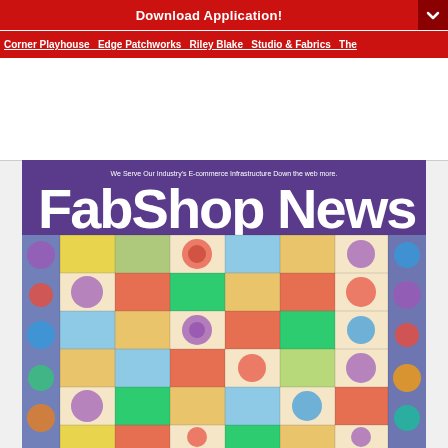Download Application!
Corner Playhouse Edge Patchworks Riley Blake Studio & Fabrics The
[Figure (photo): FabShop News magazine cover featuring a colorful quilt with floral fabric squares arranged in a geometric pattern on a purple background, with the magazine title 'FabShop News' in large white bold text at the top]